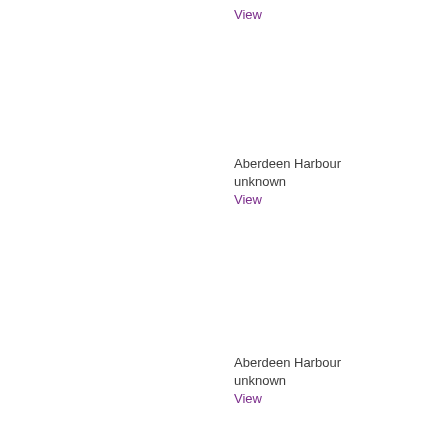View
Aberdeen Harbour
unknown
View
Aberdeen Harbour
unknown
View